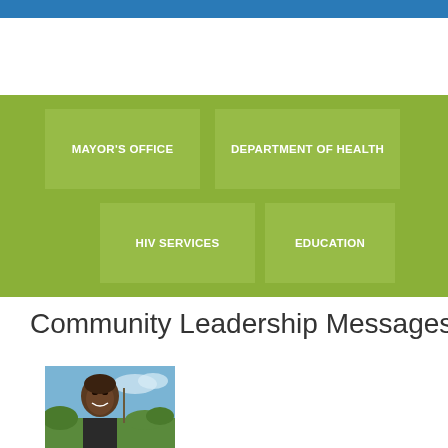[Figure (infographic): Green organizational chart block showing four boxes: MAYOR'S OFFICE, DEPARTMENT OF HEALTH, HIV SERVICES, EDUCATION on a green background]
Community Leadership Messages
[Figure (photo): Portrait photo of a man smiling outdoors with blue sky and trees in background]